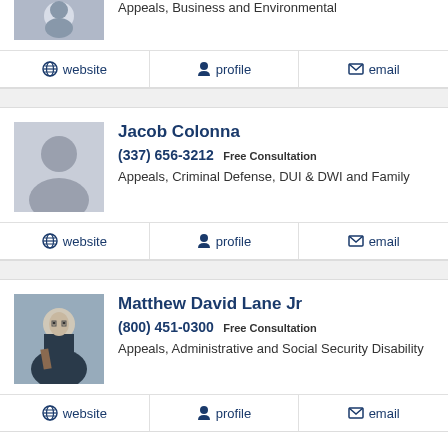Appeals, Business and Environmental
website  profile  email
Jacob Colonna
(337) 656-3212 Free Consultation
Appeals, Criminal Defense, DUI & DWI and Family
website  profile  email
Matthew David Lane Jr
(800) 451-0300 Free Consultation
Appeals, Administrative and Social Security Disability
website  profile  email